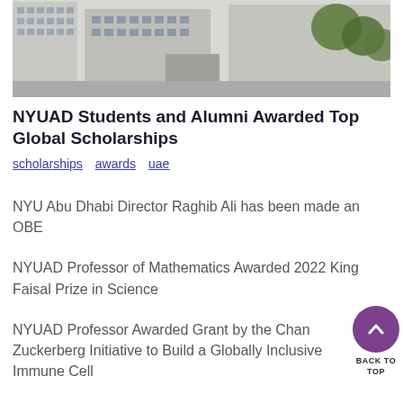[Figure (photo): Aerial view of NYU Abu Dhabi campus buildings, modern white architecture with trees and courtyard visible]
NYUAD Students and Alumni Awarded Top Global Scholarships
scholarships  awards  uae
NYU Abu Dhabi Director Raghib Ali has been made an OBE
NYUAD Professor of Mathematics Awarded 2022 King Faisal Prize in Science
NYUAD Professor Awarded Grant by the Chan Zuckerberg Initiative to Build a Globally Inclusive Immune Cell